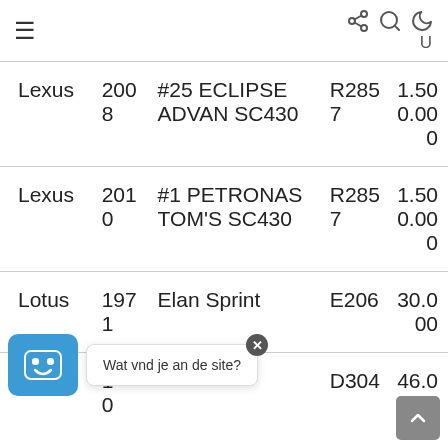≡  [share] [search] [moon] U
| Make | Year | Model | Ref | Price |
| --- | --- | --- | --- | --- |
| Lexus | 2008 | #25 ECLIPSE ADVAN SC430 | R2857 | 1.50 0.00 0 |
| Lexus | 2010 | #1 PETRONAS TOM'S SC430 | R2857 | 1.50 0.00 0 |
| Lotus | 1971 | Elan Sprint | E206 | 30.0 00 |
| Lo[cut] | 1[cut]0 | [cut] | D304 | 46.0 00 |